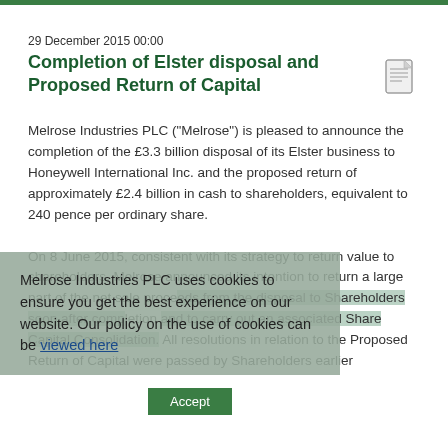29 December 2015 00:00
Completion of Elster disposal and Proposed Return of Capital
Melrose Industries PLC ("Melrose") is pleased to announce the completion of the £3.3 billion disposal of its Elster business to Honeywell International Inc. and the proposed return of approximately £2.4 billion in cash to shareholders, equivalent to 240 pence per ordinary share.

On 8 June 2015, consistent with its strategy to return value to shareholders, Melrose announced its intention to return a large part of the net sale proceeds from the disposal to Shareholders soon after completion and to carry out an associated Share Capital Consolidation. All resolutions in relation to the Proposed Return of Capital were passed by Shareholders earlier